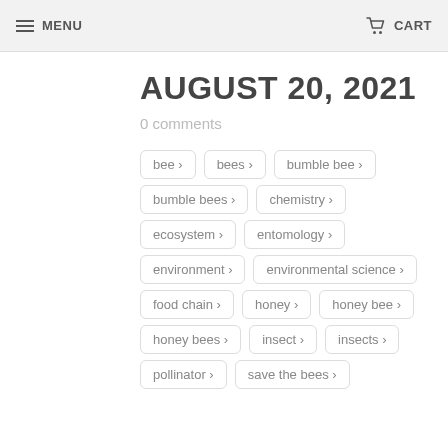MENU   CART
AUGUST 20, 2021
0 comments
bee ›
bees ›
bumble bee ›
bumble bees ›
chemistry ›
ecosystem ›
entomology ›
environment ›
environmental science ›
food chain ›
honey ›
honey bee ›
honey bees ›
insect ›
insects ›
pollinator ›
save the bees ›